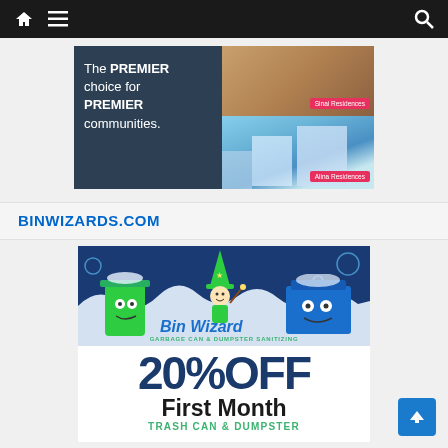[Figure (screenshot): Dark navigation bar with home icon, hamburger menu, and search icon on white background]
[Figure (illustration): Advertisement banner: 'The PREMIER choice for PREMIER communities.' with images of Sinai Residences and Alina Residences buildings on dark blue background]
BINWIZARDS.COM
[Figure (illustration): Bin Wizard advertisement: Bin Wizard logo with cartoon garbage cans and wizard character, '20% OFF First Month TRASH CAN & DUMPSTER' text on dark blue and white background]